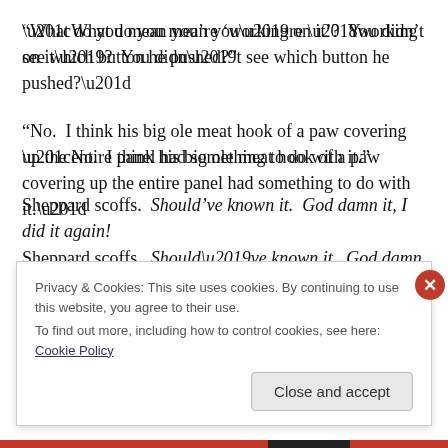“What do you mean you’re ‘working on it’?  You didn’t see which button he pushed?”
“No.  I think his big ole meat hook of a paw covering up the entire panel had something to do with it.”
Sheppard scoffs.  Should’ve known it.  God damn it, I did it again!
Privacy & Cookies: This site uses cookies. By continuing to use this website, you agree to their use.
To find out more, including how to control cookies, see here: Cookie Policy